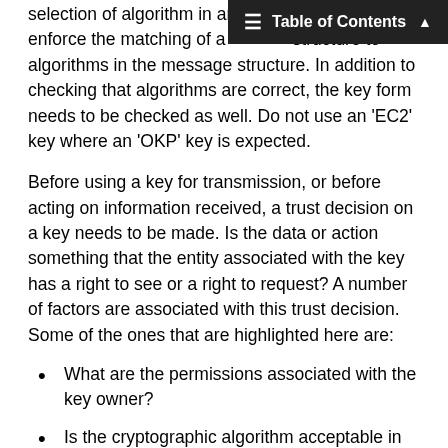Table of Contents
selection of algorithm in any dist... strictly enforce the matching of algorithm... structure to algorithms in the message structure. In addition to checking that algorithms are correct, the key form needs to be checked as well. Do not use an 'EC2' key where an 'OKP' key is expected.
Before using a key for transmission, or before acting on information received, a trust decision on a key needs to be made. Is the data or action something that the entity associated with the key has a right to see or a right to request? A number of factors are associated with this trust decision. Some of the ones that are highlighted here are:
What are the permissions associated with the key owner?
Is the cryptographic algorithm acceptable in the current context?
Have the restrictions associated with the key, such as algorithm or freshness, been checked and are they correct?